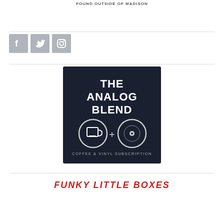FOUND OUTSIDE OF MADISON
[Figure (logo): Three social media icons: Facebook, Twitter, Instagram — grey square buttons]
[Figure (logo): The Analog Blend logo — dark navy background with white text reading THE ANALOG BLEND with a coffee mug and vinyl record icon, subtitle: COFFEE & VINYL SUBSCRIPTION]
FUNKY LITTLE BOXES